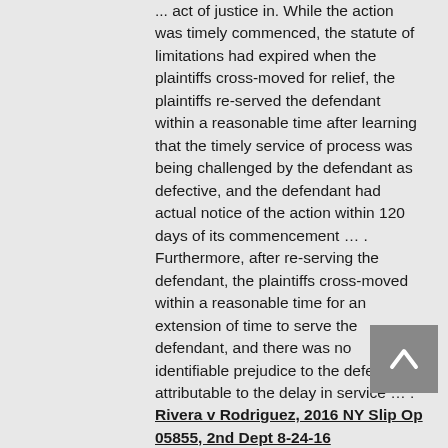... act of justice in. While the action was timely commenced, the statute of limitations had expired when the plaintiffs cross-moved for relief, the plaintiffs re-served the defendant within a reasonable time after learning that the timely service of process was being challenged by the defendant as defective, and the defendant had actual notice of the action within 120 days of its commencement … . Furthermore, after re-serving the defendant, the plaintiffs cross-moved within a reasonable time for an extension of time to serve the defendant, and there was no identifiable prejudice to the defendant attributable to the delay in service … . Rivera v Rodriguez, 2016 NY Slip Op 05855, 2nd Dept 8-24-16